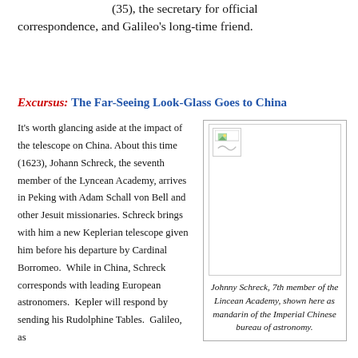(35), the secretary for official correspondence, and Galileo's long-time friend.
Excursus: The Far-Seeing Look-Glass Goes to China
It's worth glancing aside at the impact of the telescope on China. About this time (1623), Johann Schreck, the seventh member of the Lyncean Academy, arrives in Peking with Adam Schall von Bell and other Jesuit missionaries. Schreck brings with him a new Keplerian telescope given him before his departure by Cardinal Borromeo. While in China, Schreck corresponds with leading European astronomers. Kepler will respond by sending his Rudolphine Tables. Galileo, as
[Figure (photo): Portrait of Johnny Schreck shown as mandarin of the Imperial Chinese bureau of astronomy]
Johnny Schreck, 7th member of the Lincean Academy, shown here as mandarin of the Imperial Chinese bureau of astronomy.